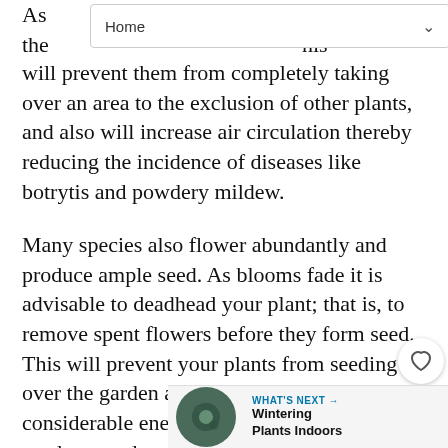Home
As ... the ... his will prevent them from completely taking over an area to the exclusion of other plants, and also will increase air circulation thereby reducing the incidence of diseases like botrytis and powdery mildew.
Many species also flower abundantly and produce ample seed. As blooms fade it is advisable to deadhead your plant; that is, to remove spent flowers before they form seed. This will prevent your plants from seeding all over the garden and will conserve the considerable energy it takes the plant to produce seed.